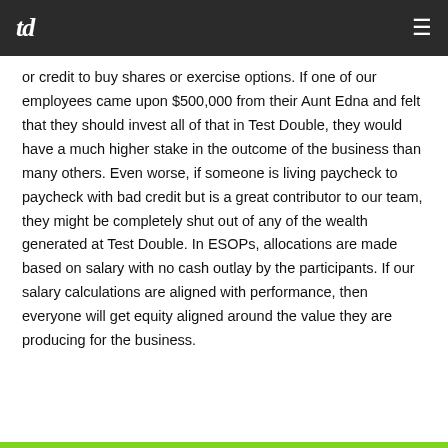td
or credit to buy shares or exercise options. If one of our employees came upon $500,000 from their Aunt Edna and felt that they should invest all of that in Test Double, they would have a much higher stake in the outcome of the business than many others. Even worse, if someone is living paycheck to paycheck with bad credit but is a great contributor to our team, they might be completely shut out of any of the wealth generated at Test Double. In ESOPs, allocations are made based on salary with no cash outlay by the participants. If our salary calculations are aligned with performance, then everyone will get equity aligned around the value they are producing for the business.